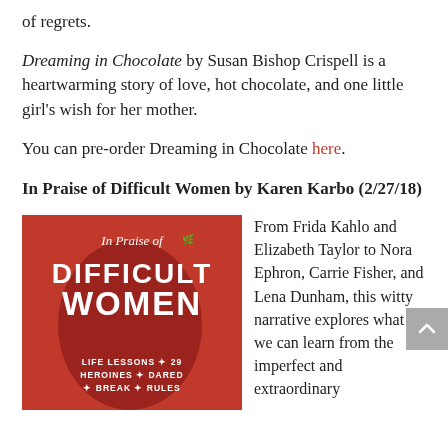of regrets.
Dreaming in Chocolate by Susan Bishop Crispell is a heartwarming story of love, hot chocolate, and one little girl’s wish for her mother.
You can pre-order Dreaming in Chocolate here.
In Praise of Difficult Women by Karen Karbo (2/27/18)
[Figure (photo): Book cover of 'In Praise of Difficult Women' by Karen Karbo. Red cover with white silhouette of a woman's profile. Text reads: 'In Praise of Difficult Women / LIFE LESSONS FROM 29 HEROINES WHO DARED TO BREAK THE RULES']
From Frida Kahlo and Elizabeth Taylor to Nora Ephron, Carrie Fisher, and Lena Dunham, this witty narrative explores what we can learn from the imperfect and extraordinary